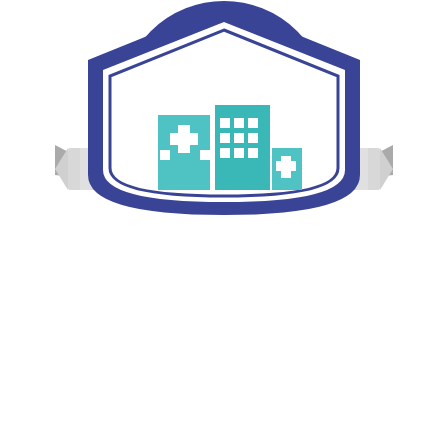[Figure (illustration): Education badge/shield icon with a teal pencil inside a dark blue circular shield, and a gray ribbon banner with white text reading EDUCATION]
[Figure (illustration): Medical/healthcare shield icon with a dark blue hexagonal shield outline containing a teal hospital building with cross symbols]